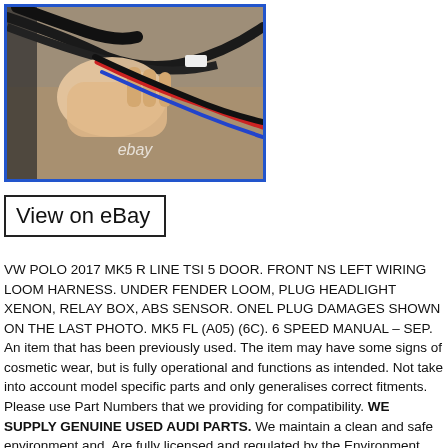[Figure (photo): A hand holding or touching colored wires (black, red, blue) from a wiring loom harness, photographed outdoors on a gravel surface. Blue border frame. eBay watermark visible.]
View on eBay
VW POLO 2017 MK5 R LINE TSI 5 DOOR. FRONT NS LEFT WIRING LOOM HARNESS. UNDER FENDER LOOM, PLUG HEADLIGHT XENON, RELAY BOX, ABS SENSOR. ONEL PLUG DAMAGES SHOWN ON THE LAST PHOTO. MK5 FL (A05) (6C). 6 SPEED MANUAL – SEP. An item that has been previously used. The item may have some signs of cosmetic wear, but is fully operational and functions as intended. Not take into account model specific parts and only generalises correct fitments. Please use Part Numbers that we providing for compatibility. WE SUPPLY GENUINE USED AUDI PARTS. We maintain a clean and safe environment and. Are fully licensed and regulated by the Environment Agency. Audi parts available off the shelf. And because they are all genuine parts, quality and correct fitments is always guaranteed. Please be aware that all items may have usage marks on them in the form of scratches as they are not brand new.